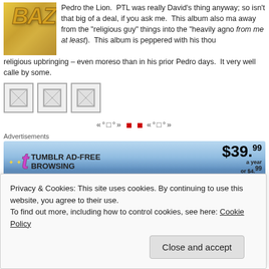[Figure (photo): Album cover showing 'BAZ' text in gold/yellow italic lettering on a gradient background]
Pedro the Lion. PTL was really David's thing anyway; so isn't that big of a deal, if you ask me. This album also ma away from the "religious guy" things into the "heavily agno from me at least). This album is peppered with his though religious upbringing – even moreso than in his prior Pedro days. It very well calle by some.
[Figure (photo): Three small thumbnail images]
«°□°» □ □ «°□°»
Advertisements
[Figure (screenshot): Tumblr AD-FREE BROWSING advertisement banner — $39.99 a year or $4.99 a month]
14 John Zorn "Novato" from Alhambra Love Songs
Alhambra Love Songs is a set of 11 songs that are an eclectic homage to San Francisco Bay area musicians. This particular song is dedicated to Mike Patton (and, no, that's not why I picked it). The album is played by pianist Bob Byrne
Privacy & Cookies: This site uses cookies. By continuing to use this website, you agree to their use.
To find out more, including how to control cookies, see here: Cookie Policy
Close and accept